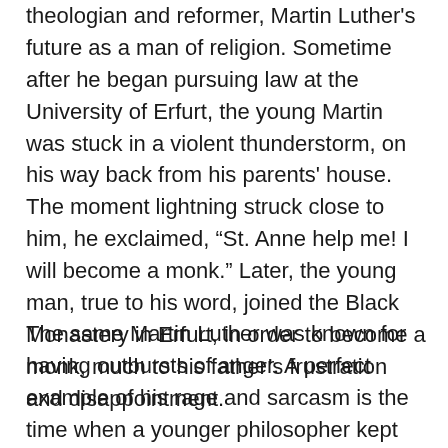theologian and reformer, Martin Luther's future as a man of religion. Sometime after he began pursuing law at the University of Erfurt, the young Martin was stuck in a violent thunderstorm, on his way back from his parents' house. The moment lightning struck close to him, he exclaimed, "St. Anne help me! I will become a monk." Later, the young man, true to his word, joined the Black Monastery in Erfurt, in order to become a monk, much to his father's frustration and disappointment.
The same Martin Luther was known for having outbursts of anger. A perfect example of his rage and sarcasm is the time when a younger philosopher kept asking Luther where God was all the while before the